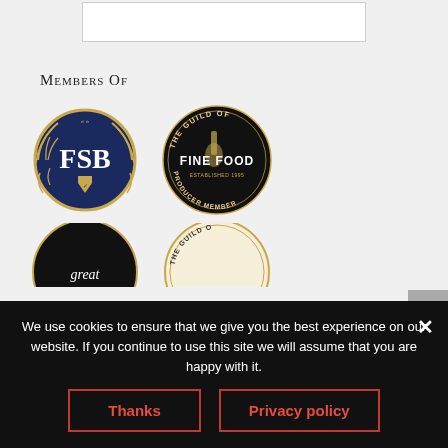[Figure (other): White rectangle box at top, partially visible, with light gray border]
Members Of
[Figure (logo): FSB logo - circular dark navy blue badge with gold laurel wreath and shield, white letters FSB in center]
[Figure (logo): The Guild of Fine Food - black circle badge with gold text reading THE GUILD OF FINE FOOD, ESTABLISHED 1995, PRODUCER MEMBER, with bottle illustration]
[Figure (logo): Great Taste / great badge - partially visible black circle at bottom left]
[Figure (logo): The Guild of (Fine Food) - partially visible gold/cream circle at bottom right]
We use cookies to ensure that we give you the best experience on our website. If you continue to use this site we will assume that you are happy with it.
Thanks
Privacy policy